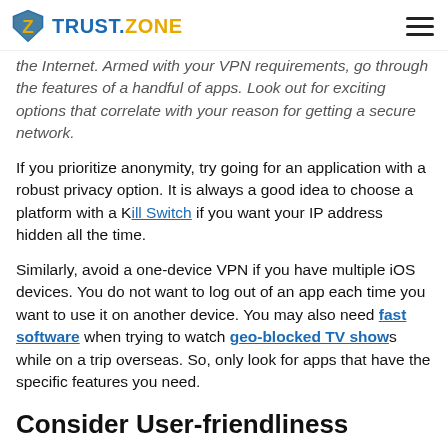TRUST.ZONE
the Internet. Armed with your VPN requirements, go through the features of a handful of apps. Look out for exciting options that correlate with your reason for getting a secure network.
If you prioritize anonymity, try going for an application with a robust privacy option. It is always a good idea to choose a platform with a Kill Switch if you want your IP address hidden all the time.
Similarly, avoid a one-device VPN if you have multiple iOS devices. You do not want to log out of an app each time you want to use it on another device. You may also need fast software when trying to watch geo-blocked TV shows while on a trip overseas. So, only look for apps that have the specific features you need.
Consider User-friendliness